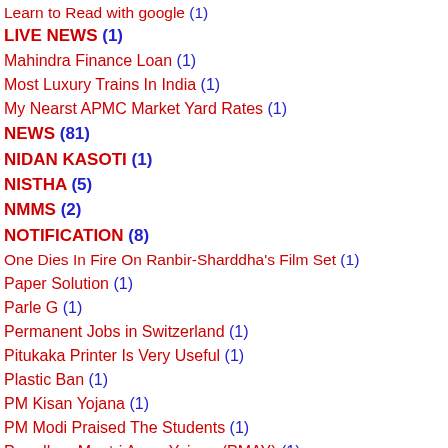Learn to Read with google (1)
LIVE NEWS (1)
Mahindra Finance Loan (1)
Most Luxury Trains In India (1)
My Nearst APMC Market Yard Rates (1)
NEWS (81)
NIDAN KASOTI (1)
NISTHA (5)
NMMS (2)
NOTIFICATION (8)
One Dies In Fire On Ranbir-Sharddha's Film Set (1)
Paper Solution (1)
Parle G (1)
Permanent Jobs in Switzerland (1)
Pitukaka Printer Is Very Useful (1)
Plastic Ban (1)
PM Kisan Yojana (1)
PM Modi Praised The Students (1)
Prandhan Mantri Awas Yojana (PMAY) (1)